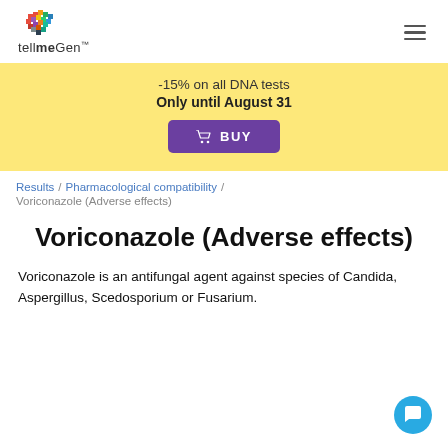[Figure (logo): tellmeGen logo with colorful pixel heart icon and brand name 'tellmeGen™']
-15% on all DNA tests
Only until August 31
BUY
Results / Pharmacological compatibility / Voriconazole (Adverse effects)
Voriconazole (Adverse effects)
Voriconazole is an antifungal agent against species of Candida, Aspergillus, Scedosporium or Fusarium.